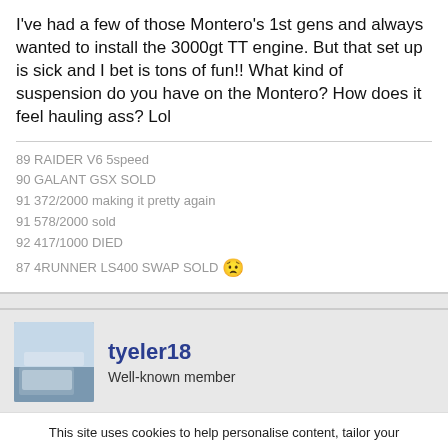I've had a few of those Montero's 1st gens and always wanted to install the 3000gt TT engine. But that set up is sick and I bet is tons of fun!! What kind of suspension do you have on the Montero? How does it feel hauling ass? Lol
89 RAIDER V6 5speed
90 GALANT GSX SOLD
91 372/2000 making it pretty again
91 578/2000 sold
92 417/1000 DIED
87 4RUNNER LS400 SWAP SOLD 😟
tyeler18 — Well-known member
This site uses cookies to help personalise content, tailor your experience and to keep you logged in if you register. By continuing to use this site, you are consenting to our use of cookies.